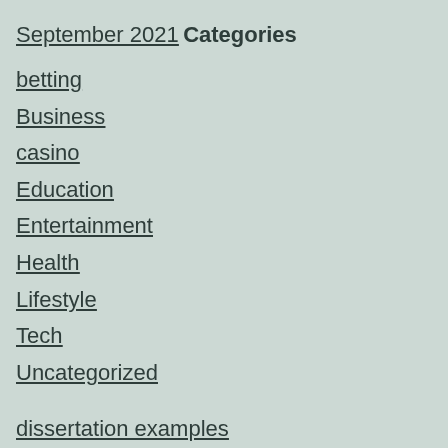September 2021
Categories
betting
Business
casino
Education
Entertainment
Health
Lifestyle
Tech
Uncategorized
dissertation examples